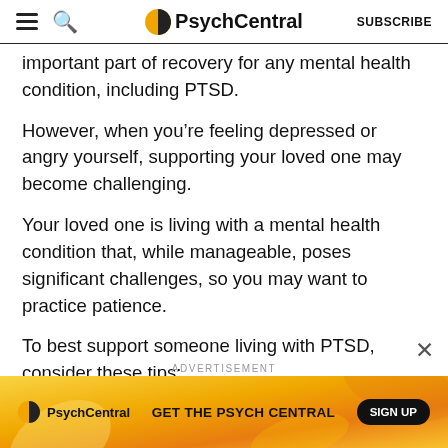PsychCentral | SUBSCRIBE
important part of recovery for any mental health condition, including PTSD.
However, when you're feeling depressed or angry yourself, supporting your loved one may become challenging.
Your loved one is living with a mental health condition that, while manageable, poses significant challenges, so you may want to practice patience.
To best support someone living with PTSD, consider these tips:
[Figure (screenshot): PsychCentral advertisement banner with orange/yellow swirl background. Contains PsychCentral logo, text 'GET THE PSYCH CENTRAL', and a 'SIGN UP' button.]